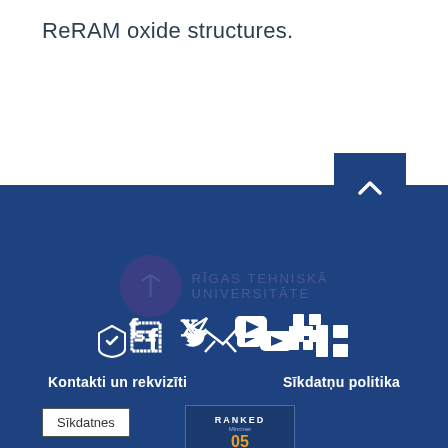ReRAM oxide structures.
[Figure (logo): University logo watermark in blue footer section]
[Figure (infographic): Social media icons: Facebook, Twitter, YouTube, LinkedIn in white on blue background]
Kontakti un rekvizīti
Sīkdatņu politika
[Figure (other): Sīkdatnes cookie button]
[Figure (other): RANKED badge - OS World University ranking]